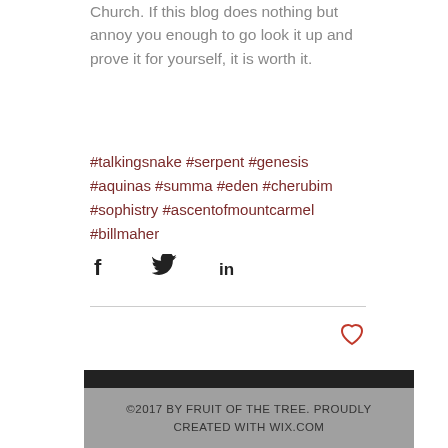Church. If this blog does nothing but annoy you enough to go look it up and prove it for yourself, it is worth it.
#talkingsnake #serpent #genesis #aquinas #summa #eden #cherubim #sophistry #ascentofmountcarmel #billmaher
[Figure (infographic): Social share icons: Facebook, Twitter, LinkedIn]
[Figure (infographic): Heart/like button icon (outlined heart, red/coral color)]
©2017 BY FRUIT OF THE TREE. PROUDLY CREATED WITH WIX.COM